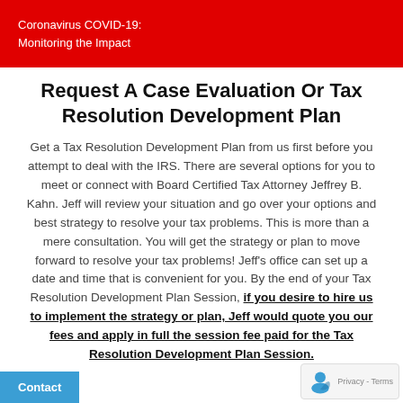Coronavirus COVID-19:
Monitoring the Impact
Request A Case Evaluation Or Tax Resolution Development Plan
Get a Tax Resolution Development Plan from us first before you attempt to deal with the IRS. There are several options for you to meet or connect with Board Certified Tax Attorney Jeffrey B. Kahn. Jeff will review your situation and go over your options and best strategy to resolve your tax problems. This is more than a mere consultation. You will get the strategy or plan to move forward to resolve your tax problems! Jeff’s office can set up a date and time that is convenient for you. By the end of your Tax Resolution Development Plan Session, if you desire to hire us to implement the strategy or plan, Jeff would quote you our fees and apply in full the session fee paid for the Tax Resolution Development Plan Session.